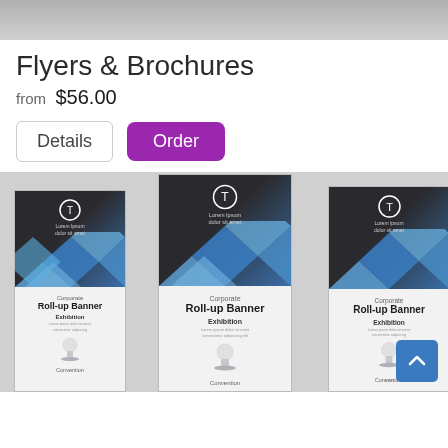[Figure (photo): Gray gradient banner image at top of page]
Flyers & Brochures
from $56.00
Details  Order
[Figure (photo): Three corporate roll-up banner display stands shown on a light gray background. Each banner shows 'Corporate Roll-up Banner' text with diamond geometric pattern in blue and dark gray, with 'Exhibition' and 'Convention' sub-labels. The center banner is slightly larger/in front.]